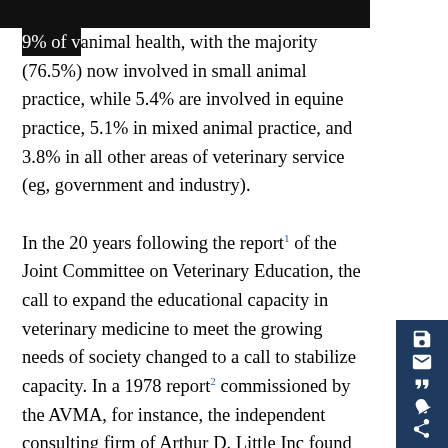9% of v[obscured] animal health, with the majority (76.5%) now involved in small animal practice, while 5.4% are involved in equine practice, 5.1% in mixed animal practice, and 3.8% in all other areas of veterinary service (eg, government and industry).
In the 20 years following the report[1] of the Joint Committee on Veterinary Education, the call to expand the educational capacity in veterinary medicine to meet the growing needs of society changed to a call to stabilize capacity. In a 1978 report[2] commissioned by the AVMA, for instance, the independent consulting firm of Arthur D. Little Inc found that based on a state-by-state analysis, there was an "overall balance nationally for 1977 between the supply and demand for veterinarians in private practice" but that the